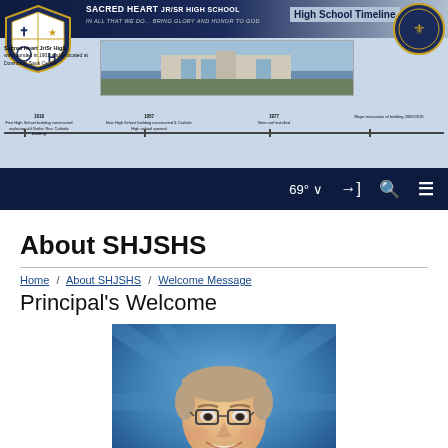[Figure (screenshot): Sacred Heart Jr/Sr High School website header banner with school logo, timeline, and navigation bar]
About SHJSHS
Home / About SHJSHS / Welcome Message
Principal's Welcome
[Figure (photo): Headshot photo of the school principal, a middle-aged man with glasses, smiling, against a blue background]